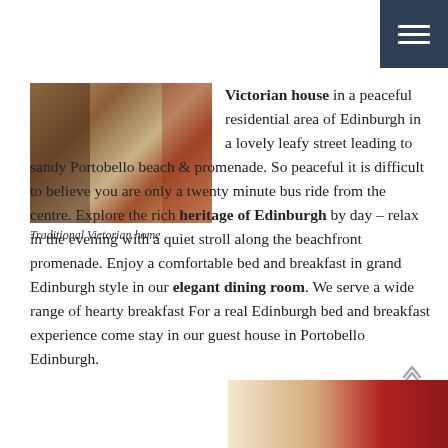[Figure (photo): Navigation menu button (hamburger icon) on dark navy background, top-right corner]
[Figure (photo): Photo of a traditional Victorian home interior showing a staircase with decorative red beads and wooden banister]
Traditional Victorian home
Victorian house in a peaceful residential area of Edinburgh in a lovely leafy street leading to sandy Portobello beach & promenade. So peaceful it is difficult to believe you are only a twenty minute bus ride from the centre. Explore the rich heritage of Edinburgh by day – relax in the evening with a quiet stroll along the beachfront promenade. Enjoy a comfortable bed and breakfast in grand Edinburgh style in our elegant dining room. We serve a wide range of hearty breakfast For a real Edinburgh bed and breakfast experience come stay in our guest house in Portobello Edinburgh.
[Figure (photo): Partial view of a bedroom or dining room interior at the bottom of the page]